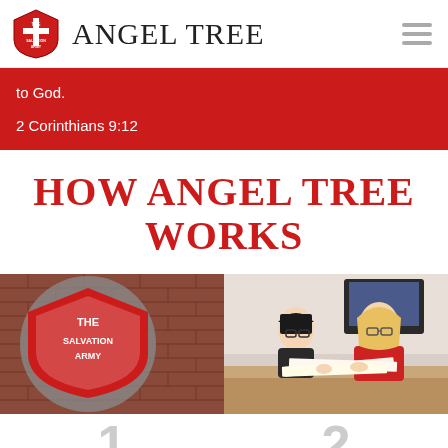ANGEL TREE
to God.
2 Corinthians 9:12
HOW ANGEL TREE WORKS
[Figure (photo): The Salvation Army shield sign mounted on a brick wall]
[Figure (photo): Two women looking at documents at an office desk]
1
2